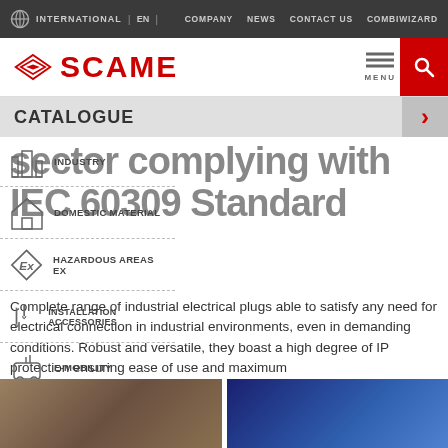INTERNATIONAL | EN | COMPANY NEWS CONTACT US COMBIWIZARD
[Figure (logo): SCAME logo with diamond emblem and red text]
CATALOGUE
sector complying with IEC 60309 Standard
INDUSTRY
DOMESTIC MATERIAL
HAZARDOUS AREAS EX
INSTALLATION ACCESSORIES
E-MOBILITY
Complete range of industrial electrical plugs able to satisfy any need for electrical connection in industrial environments, even in demanding conditions. Robust and versatile, they boast a high degree of IP protection ensuring ease of use and maximum
[Figure (photo): Two product/industrial photos at bottom of page]